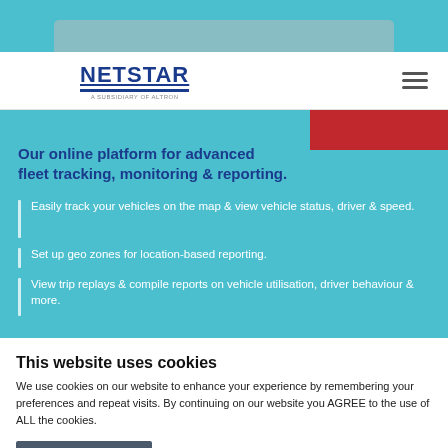[Figure (screenshot): Top strip showing partial device/laptop screen in teal background]
NETSTAR — A SUBSIDIARY OF ALTRON | Navigation hamburger menu
[Figure (screenshot): Teal section with heading 'Our online platform for advanced fleet tracking, monitoring & reporting.' and three bullet points. Red overlay block partially visible top-right.]
This website uses cookies
We use cookies on our website to enhance your experience by remembering your preferences and repeat visits. By continuing on our website you AGREE to the use of ALL the cookies.
Allow all cookies | Show details